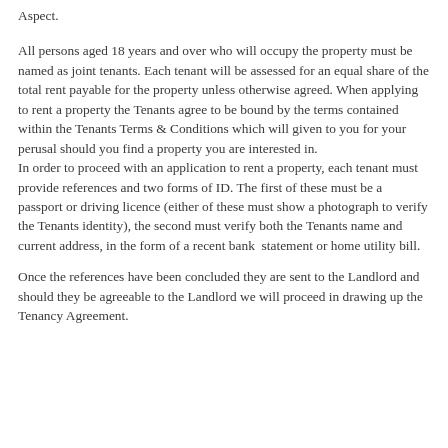Aspect.
All persons aged 18 years and over who will occupy the property must be named as joint tenants. Each tenant will be assessed for an equal share of the total rent payable for the property unless otherwise agreed. When applying to rent a property the Tenants agree to be bound by the terms contained within the Tenants Terms & Conditions which will given to you for your perusal should you find a property you are interested in. In order to proceed with an application to rent a property, each tenant must provide references and two forms of ID. The first of these must be a passport or driving licence (either of these must show a photograph to verify the Tenants identity), the second must verify both the Tenants name and current address, in the form of a recent bank  statement or home utility bill.
Once the references have been concluded they are sent to the Landlord and should they be agreeable to the Landlord we will proceed in drawing up the Tenancy Agreement.